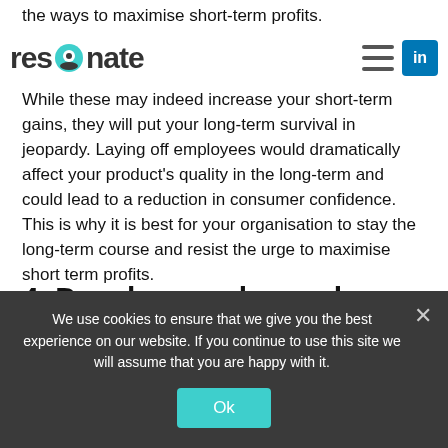the ways to maximise short-term profits.
resonate [logo] [hamburger menu] [LinkedIn icon]
While these may indeed increase your short-term gains, they will put your long-term survival in jeopardy. Laying off employees would dramatically affect your product's quality in the long-term and could lead to a reduction in consumer confidence. This is why it is best for your organisation to stay the long-term course and resist the urge to maximise short term profits.
4. Develop a sales and marketing plan that lasts
Sales and marketing plans have two relevant types; short-term and long-term marketing plans. While both plans have their benefits, the best companies can combine both
We use cookies to ensure that we give you the best experience on our website. If you continue to use this site we will assume that you are happy with it.
Ok